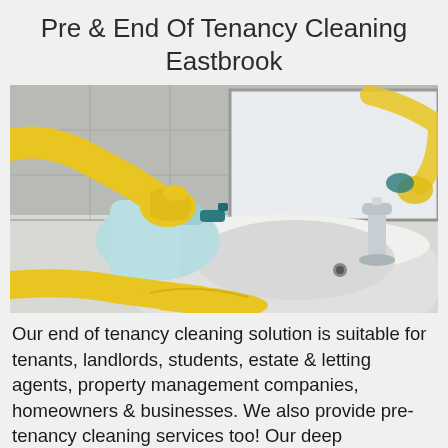Pre & End Of Tenancy Cleaning Eastbrook
[Figure (photo): Photograph of a person wearing yellow rubber gloves cleaning a bathroom sink with a light blue spray bottle and a yellow cloth, with a chrome faucet and white tiles/mirror in the background.]
Our end of tenancy cleaning solution is suitable for tenants, landlords, students, estate & letting agents, property management companies, homeowners & businesses. We also provide pre-tenancy cleaning services too! Our deep